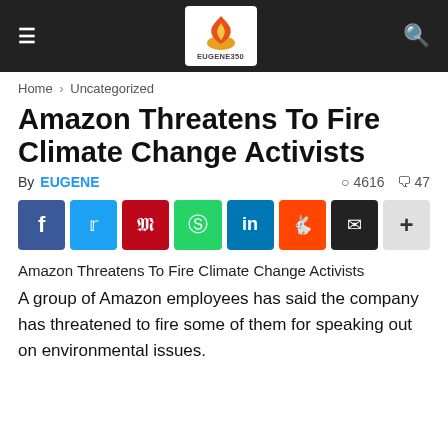Eugene350 site header with hamburger menu, logo, and search icon
Home › Uncategorized
Amazon Threatens To Fire Climate Change Activists
By EUGENE  ◉ 4616  💬 47
[Figure (infographic): Social share buttons: Facebook, Twitter, Pinterest, WhatsApp, LinkedIn, Reddit, Email, Plus]
Amazon Threatens To Fire Climate Change Activists
A group of Amazon employees has said the company has threatened to fire some of them for speaking out on environmental issues.